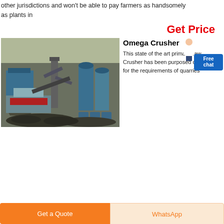other jurisdictions and won't be able to pay farmers as handsomely as plants in
Get Price
[Figure (photo): Industrial crushing/mining plant facility with large blue machinery, conveyor belts, silos, and piles of crushed material in foreground]
Omega Crusher
This state of the art primary Jaw Crusher has been purposed designed for the requirements of quarries
Free chat
Get a Quote
WhatsApp